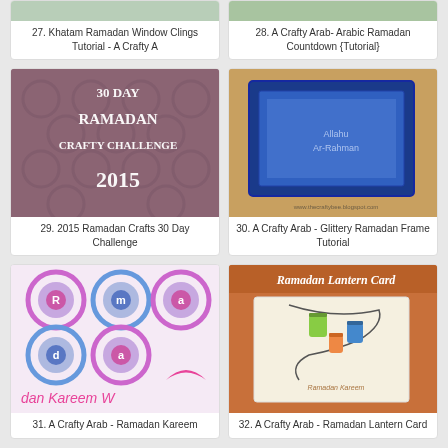[Figure (photo): Partial image of item 27 - Khatam Ramadan Window Clings Tutorial]
27. Khatam Ramadan Window Clings Tutorial - A Crafty A
[Figure (photo): Partial image of item 28 - A Crafty Arab Arabic Ramadan Countdown Tutorial]
28. A Crafty Arab- Arabic Ramadan Countdown {Tutorial}
[Figure (photo): 30 Day Ramadan Crafty Challenge 2015 graphic with pink/mauve background and Moorish pattern]
29. 2015 Ramadan Crafts 30 Day Challenge
[Figure (photo): Glittery Ramadan Frame Tutorial - blue picture frame on wooden surface]
30. A Crafty Arab - Glittery Ramadan Frame Tutorial
[Figure (photo): Ramadan Kareem Wreath craft with colorful circles and letters]
31. A Crafty Arab - Ramadan Kareem
[Figure (photo): Ramadan Lantern Card craft with orange border and hanging lanterns]
32. A Crafty Arab - Ramadan Lantern Card